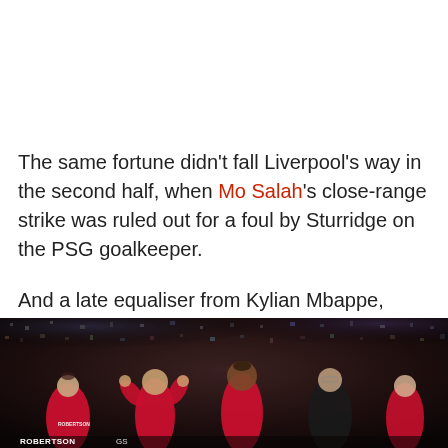The same fortune didn't fall Liverpool's way in the second half, when Mo Salah's close-range strike was ruled out for a foul by Sturridge on the PSG goalkeeper.
And a late equaliser from Kylian Mbappe, previously anonymous, had most of the ground feeling extremely frustrated after a dominant performance.
[Figure (photo): Liverpool players in red shirts on the pitch, with ROBERTSON name visible on one player's back. Crowd visible in background.]